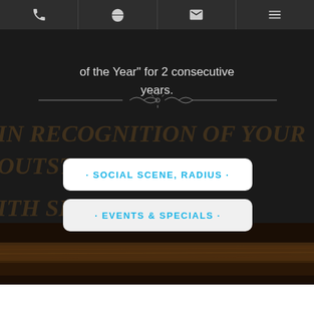Navigation bar with phone, menu, email, and hamburger menu icons
of the Year" for 2 consecutive years.
[Figure (illustration): Decorative ornamental divider line with scroll design]
[Figure (illustration): Background watermark text reading: IN RECOGNITION OF YOUR OUTSTANDING CONTRIBUTION... ITH SHO...TRY]
· SOCIAL SCENE, RADIUS ·
· EVENTS & SPECIALS ·
[Figure (photo): Restaurant interior showing wooden bar/counter area with dark moody lighting]